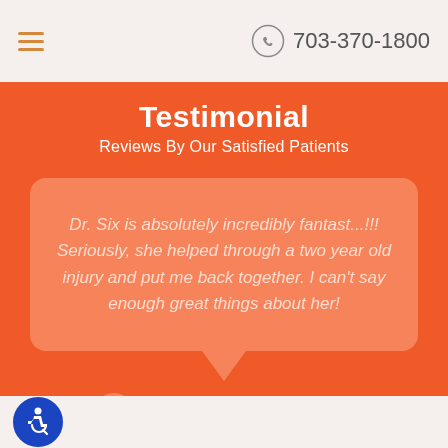703-370-1800
Testimonial
Reviews By Our Satisfied Patients
Dr. Six is absolutely incredibly fantast...!!! Seriously, she helped through a two year old injury and put me back together. I can't say enough great things about her!
Rob P. Alexandria, VA